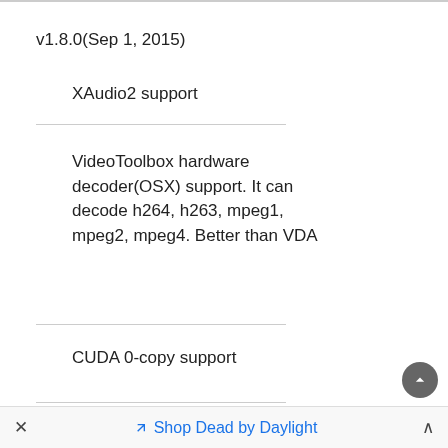v1.8.0(Sep 1, 2015)
XAudio2 support
VideoToolbox hardware decoder(OSX) support. It can decode h264, h263, mpeg1, mpeg2, mpeg4. Better than VDA
CUDA 0-copy support
× Shop Dead by Daylight ^